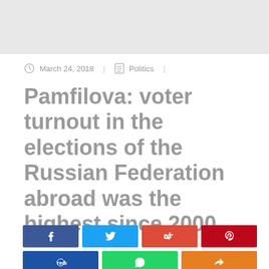[Figure (other): Gray banner/advertisement area at the top of the page]
March 24, 2018  |  Politics  |
Pamfilova: voter turnout in the elections of the Russian Federation abroad was the highest since 2000
[Figure (other): Social media sharing buttons: Facebook, Twitter, Google+, Pinterest, Reddit, WhatsApp, Share]